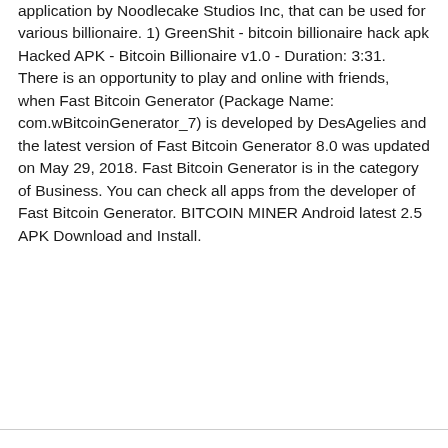application by Noodlecake Studios Inc, that can be used for various billionaire. 1) GreenShit - bitcoin billionaire hack apk Hacked APK - Bitcoin Billionaire v1.0 - Duration: 3:31. There is an opportunity to play and online with friends, when Fast Bitcoin Generator (Package Name: com.wBitcoinGenerator_7) is developed by DesAgelies and the latest version of Fast Bitcoin Generator 8.0 was updated on May 29, 2018. Fast Bitcoin Generator is in the category of Business. You can check all apps from the developer of Fast Bitcoin Generator. BITCOIN MINER Android latest 2.5 APK Download and Install.